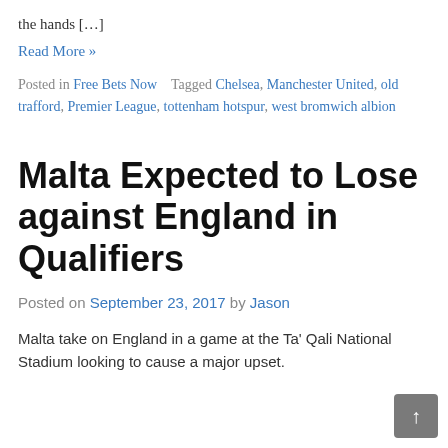the hands […]
Read More »
Posted in Free Bets Now   Tagged Chelsea, Manchester United, old trafford, Premier League, tottenham hotspur, west bromwich albion
Malta Expected to Lose against England in Qualifiers
Posted on September 23, 2017 by Jason
Malta take on England in a game at the Ta' Qali National Stadium looking to cause a major upset.